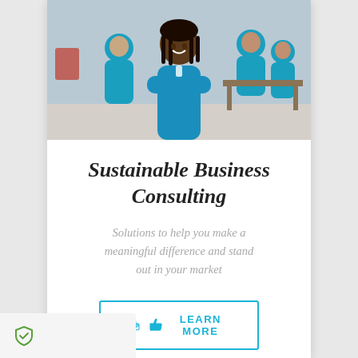[Figure (photo): Group of people wearing teal/cyan t-shirts in a warehouse or office setting. A woman stands in the foreground with arms crossed, smiling. Others are in the background near tables and boxes.]
Sustainable Business Consulting
Solutions to help you make a meaningful difference and stand out in your market
LEARN MORE